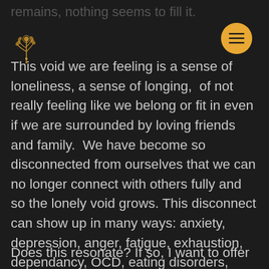remains, nothing seems to fill it.
[Figure (illustration): Small decorative golden floral/botanical logo illustration]
This void we are feeling is a sense of loneliness, a sense of longing, of not really feeling like we belong or fit in even if we are surrounded by loving friends and family. We have become so disconnected from ourselves that we can no longer connect with others fully and so the lonely void grows. This disconnect can show up in many ways: anxiety, depression, anger, fatigue, exhaustion, dependancy, OCD, eating disorders, addiction.
Does this resonate? If so, I want to offer